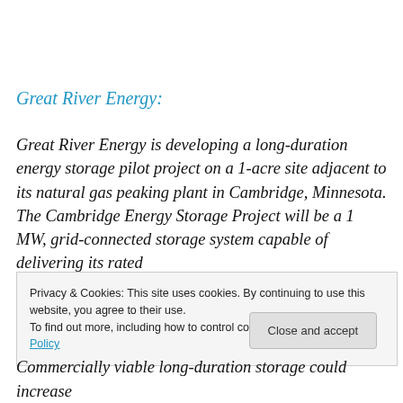Great River Energy:
Great River Energy is developing a long-duration energy storage pilot project on a 1-acre site adjacent to its natural gas peaking plant in Cambridge, Minnesota. The Cambridge Energy Storage Project will be a 1 MW, grid-connected storage system capable of delivering its rated
Privacy & Cookies: This site uses cookies. By continuing to use this website, you agree to their use.
To find out more, including how to control cookies, see here: Cookie Policy
Commercially viable long-duration storage could increase